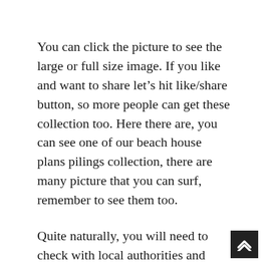You can click the picture to see the large or full size image. If you like and want to share let's hit like/share button, so more people can get these collection too. Here there are, you can see one of our beach house plans pilings collection, there are many picture that you can surf, remember to see them too.
Quite naturally, you will need to check with local authorities and guantee that your property is being built based on code. If you need 3 bathrooms, then build them. One of the more in style ones includes an actual property agent who shows the homebuyer a few houses and then the buyer has to pick one before the tip of the show. Have you ever watched some of the present home and backyard shows which can be